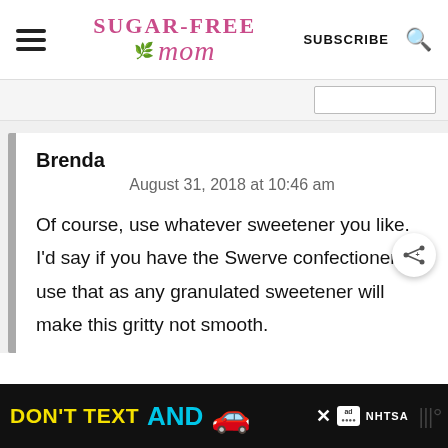Sugar-Free Mom | SUBSCRIBE
Brenda
August 31, 2018 at 10:46 am
Of course, use whatever sweetener you like. I'd say if you have the Swerve confectioners to use that as any granulated sweetener will make this gritty not smooth.
[Figure (other): Advertisement banner: DON'T TEXT AND [car emoji] with NHTSA branding on black background]